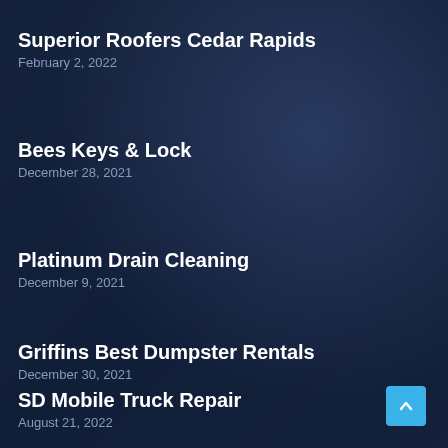Superior Roofers Cedar Rapids
February 2, 2022
Bees Keys & Lock
December 28, 2021
Platinum Drain Cleaning
December 9, 2021
Griffins Best Dumpster Rentals
December 30, 2021
SD Mobile Truck Repair
August 21, 2022